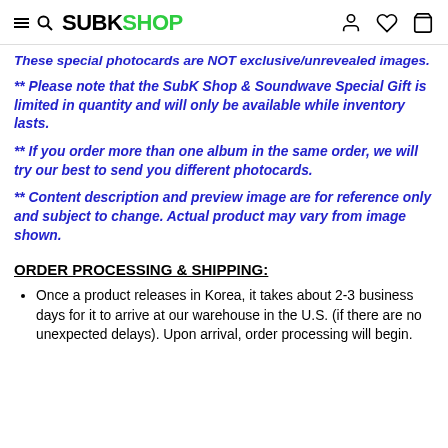SUBKSHOP
These special photocards are NOT exclusive/unrevealed images.
** Please note that the SubK Shop & Soundwave Special Gift is limited in quantity and will only be available while inventory lasts.
** If you order more than one album in the same order, we will try our best to send you different photocards.
** Content description and preview image are for reference only and subject to change. Actual product may vary from image shown.
ORDER PROCESSING & SHIPPING:
Once a product releases in Korea, it takes about 2-3 business days for it to arrive at our warehouse in the U.S. (if there are no unexpected delays). Upon arrival, order processing will begin.